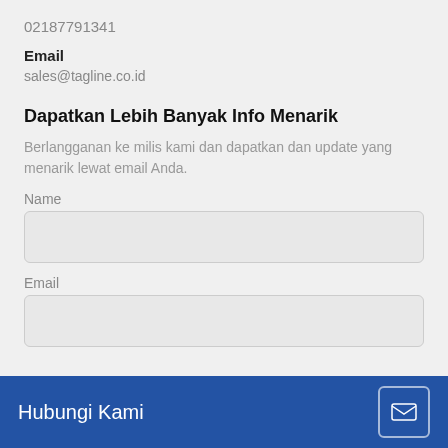02187791341
Email
sales@tagline.co.id
Dapatkan Lebih Banyak Info Menarik
Berlangganan ke milis kami dan dapatkan dan update yang menarik lewat email Anda.
Name
Email
Hubungi Kami